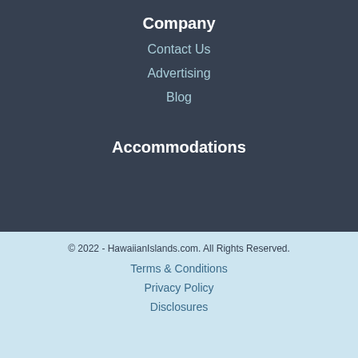Company
Contact Us
Advertising
Blog
Accommodations
© 2022 - HawaiianIslands.com. All Rights Reserved.
Terms & Conditions
Privacy Policy
Disclosures